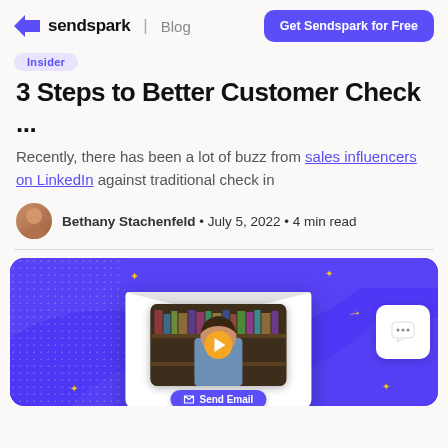sendspark | Blog — Get Sendspark for Free
Insider
3 Steps to Better Customer Check ...
Recently, there has been a lot of buzz from sales influencers on LinkedIn against traditional check in
Bethany Stachenfeld • July 5, 2022 • 4 min read
[Figure (screenshot): Sendspark video email product screenshot showing an envelope with a video thumbnail of a man smiling, a Send Email button, and decorative elements on a purple background]